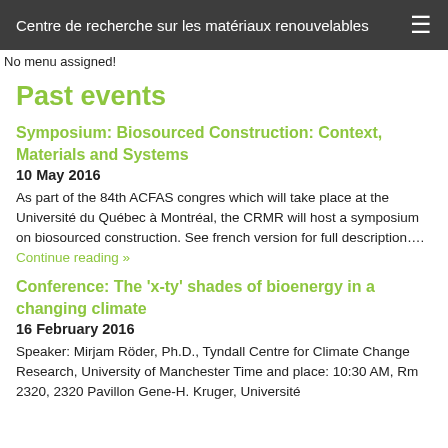Centre de recherche sur les matériaux renouvelables
No menu assigned!
Past events
Symposium: Biosourced Construction: Context, Materials and Systems
10 May 2016
As part of the 84th ACFAS congres which will take place at the Université du Québec à Montréal, the CRMR will host a symposium on biosourced construction. See french version for full description.... Continue reading »
Conference: The 'x-ty' shades of bioenergy in a changing climate
16 February 2016
Speaker: Mirjam Röder, Ph.D., Tyndall Centre for Climate Change Research, University of Manchester Time and place: 10:30 AM, Rm 2320, 2320 Pavillon Gene-H. Kruger, Université